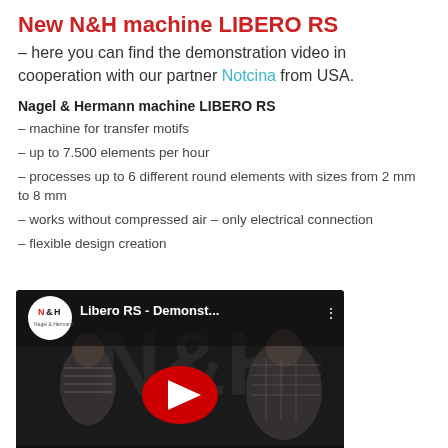New N&H machine LIBERO RS
– here you can find the demonstration video in cooperation with our partner Notcina from USA.
Nagel & Hermann machine LIBERO RS
– machine for transfer motifs
– up to 7.500 elements per hour
– processes up to 6 different round elements with sizes from 2 mm to 8 mm
– works without compressed air – only electrical connection
– flexible design creation
[Figure (screenshot): YouTube video thumbnail showing N&H logo, title 'Libero RS - Demonst...' with two people standing against a dark background featuring N&H branding, and a red YouTube play button in the center]